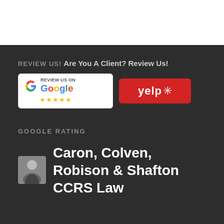REVIEW US!
Are You A Client? Review Us!
[Figure (logo): Review Us on Google badge with 5 gold stars and Yelp red badge]
GOOGLE RATING
[Figure (photo): Small portrait photo of a man in a suit]
Caron, Colven, Robison & Shafton CCRS Law